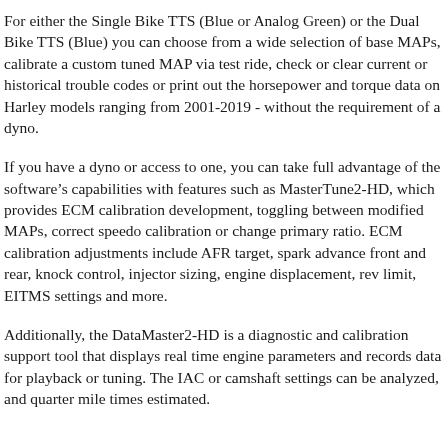For either the Single Bike TTS (Blue or Analog Green) or the Dual Bike TTS (Blue) you can choose from a wide selection of base MAPs, calibrate a custom tuned MAP via test ride, check or clear current or historical trouble codes or print out the horsepower and torque data on Harley models ranging from 2001-2019 - without the requirement of a dyno.
If you have a dyno or access to one, you can take full advantage of the software's capabilities with features such as MasterTune2-HD, which provides ECM calibration development, toggling between modified MAPs, correct speedo calibration or change primary ratio. ECM calibration adjustments include AFR target, spark advance front and rear, knock control, injector sizing, engine displacement, rev limit, EITMS settings and more.
Additionally, the DataMaster2-HD is a diagnostic and calibration support tool that displays real time engine parameters and records data for playback or tuning. The IAC or camshaft settings can be analyzed, and quarter mile times estimated.